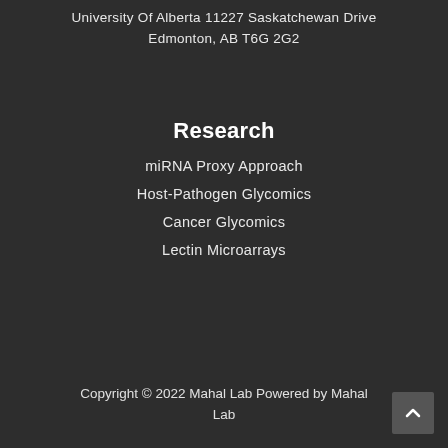University Of Alberta 11227 Saskatchewan Drive
Edmonton, AB T6G 2G2
Research
miRNA Proxy Approach
Host-Pathogen Glycomics
Cancer Glycomics
Lectin Microarrays
Copyright © 2022 Mahal Lab Powered by Mahal Lab